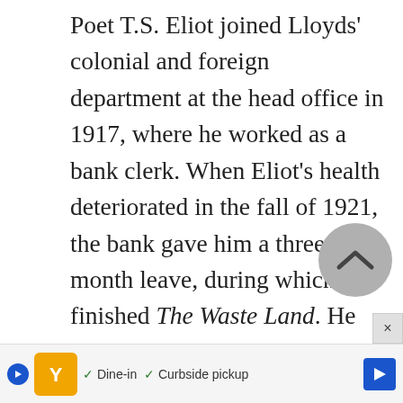Poet T.S. Eliot joined Lloyds' colonial and foreign department at the head office in 1917, where he worked as a bank clerk. When Eliot's health deteriorated in the fall of 1921, the bank gave him a three-month leave, during which he finished The Waste Land. He left Lloyds for a better-paying job at another bank in 1925.

In the year and a half after the end of World War I in November 1918, there wa...